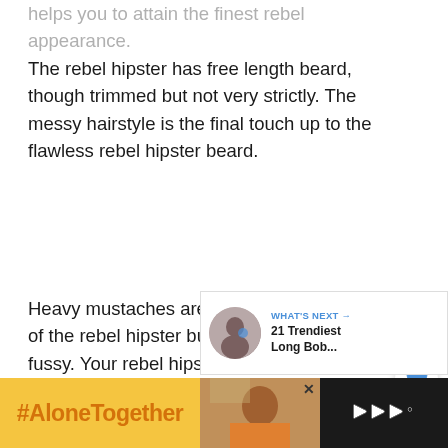helps you to attain the finest rebel appearance. The rebel hipster has free length beard, though trimmed but not very strictly. The messy hairstyle is the final touch up to the flawless rebel hipster beard.
Heavy mustaches are an additional feature of the rebel hipster but no need to get fussy. Your rebel hipster beard is all fine and complete even without heavy and bulky mustaches.
[Figure (screenshot): Like (heart) button - circular white button with blue heart icon]
[Figure (screenshot): Share button - circular white button with share icon]
[Figure (screenshot): What's Next panel showing a woman with headphones and text '21 Trendiest Long Bob...']
[Figure (screenshot): Advertisement bar at the bottom with #AloneTogether text on yellow background, a woman image, and a dark section with logo]